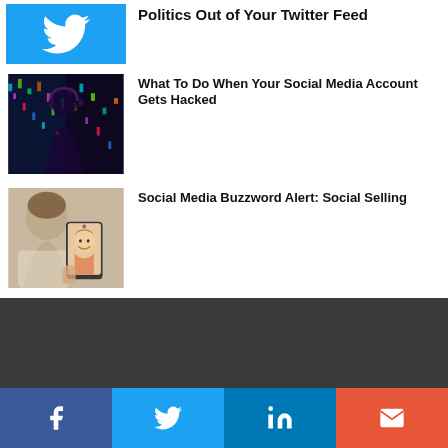[Figure (illustration): Twitter blue background thumbnail with white Twitter bird icon]
Politics Out of Your Twitter Feed
[Figure (photo): Dark digital hacking themed image showing woman silhouette with colorful data/code overlay]
What To Do When Your Social Media Account Gets Hacked
[Figure (photo): Person photographing a smiling woman with a smartphone]
Social Media Buzzword Alert: Social Selling
[Figure (infographic): Dark footer area with social share buttons: Facebook, Twitter, LinkedIn, Email]